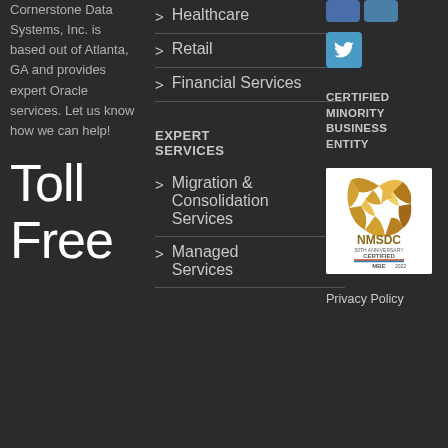Cornerstone Data Systems, Inc. is based out of Atlanta, GA and provides expert Oracle services. Let us know how we can help!
Toll Free
> Healthcare
> Retail
> Financial Services
EXPERT SERVICES
> Migration & Consolidation Services
> Managed Services
[Figure (logo): Twitter social media button (blue square with bird icon)]
CERTIFIED MINORITY BUSINESS ENTITY
[Figure (logo): NMSDC 50th Anniversary Certified MBE 2022 certification logo on white background with gold shield graphic]
Privacy Policy